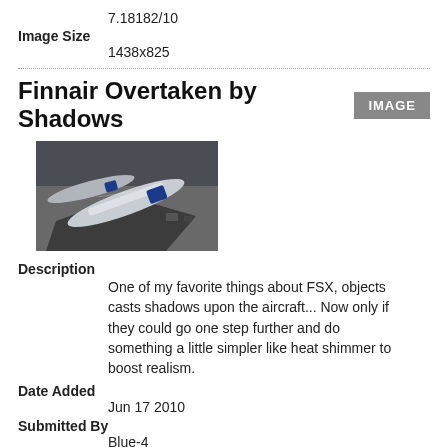7.18182/10
Image Size
1438x825
Finnair Overtaken by Shadows
[Figure (photo): Aerial/top-down view of Finnair aircraft at an airport, showing shadows cast over the planes, dark tones]
Description
One of my favorite things about FSX, objects casts shadows upon the aircraft... Now only if they could go one step further and do something a little simpler like heat shimmer to boost realism.
Date Added
Jun 17 2010
Submitted By
Blue-4
Hits
2468
Rating
5.25/10
Image Size
1600x1050